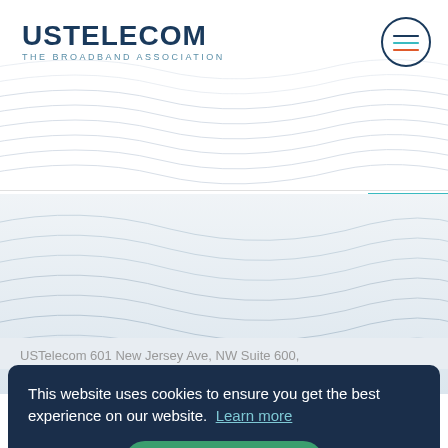[Figure (logo): USTelecom The Broadband Association logo with hamburger menu icon in circle]
USTelecom 601 New Jersey Ave, NW Suite 600,
This website uses cookies to ensure you get the best experience on our website. Learn more
Got it!